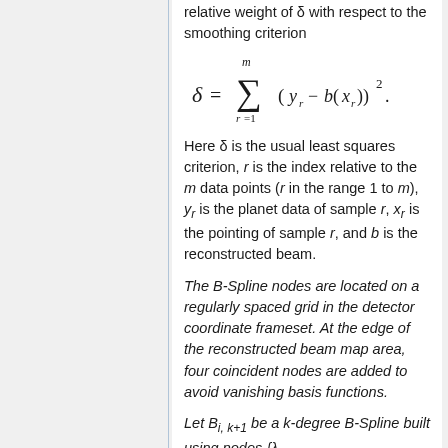relative weight of δ with respect to the smoothing criterion
Here &delta; is the usual least squares criterion, r is the index relative to the m data points (r in the range 1 to m), y_r is the planet data of sample r, x_r is the pointing of sample r, and b is the reconstructed beam.
The B-Spline nodes are located on a regularly spaced grid in the detector coordinate frameset. At the edge of the reconstructed beam map area, four coincident nodes are added to avoid vanishing basis functions.
Let B_{i, k+1} be a k-degree B-Spline built using nodes {&lambda;_p, ..., &lambda;_{p+k+1} (De Boor & Cox, 1972)